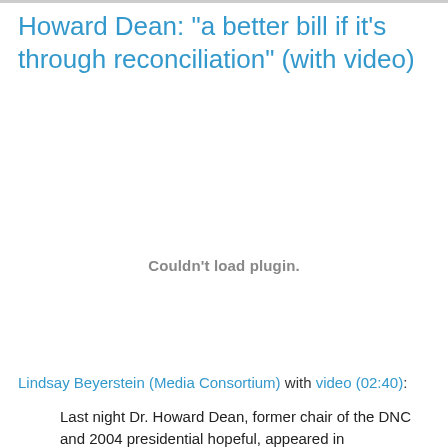Howard Dean: "a better bill if it's through reconciliation" (with video)
[Figure (other): Video plugin area showing 'Couldn't load plugin.' message]
Lindsay Beyerstein (Media Consortium) with video (02:40):
Last night Dr. Howard Dean, former chair of the DNC and 2004 presidential hopeful, appeared in conversation with journalist Joe Conason at the 92nd Street YMCA in New York. Dean discussed